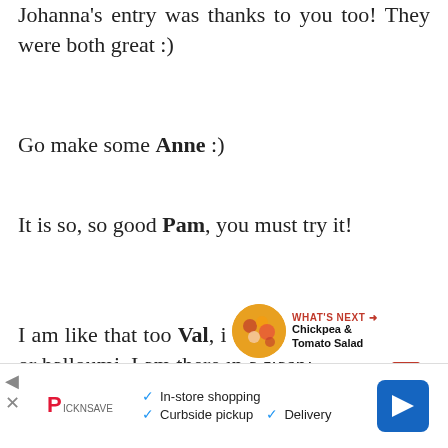Johanna's entry was thanks to you too! They were both great :)
Go make some Anne :)
It is so, so good Pam, you must try it!
I am like that too Val, if anyone mentions feta or halloumi, I am there in a flash!
Thanks Greg and it is lovely to meet you :D
Thanks Susan I got it. Y...
[Figure (infographic): Red heart/like button with count 17 and share icon below]
[Figure (infographic): What's Next panel showing Chickpea & Tomato Salad with food photo]
[Figure (infographic): Advertisement banner: In-store shopping, Curbside pickup, Delivery with navigation button]